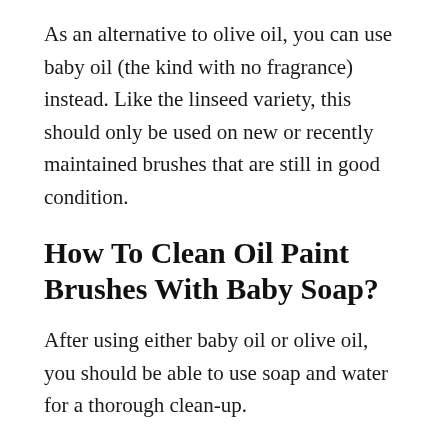As an alternative to olive oil, you can use baby oil (the kind with no fragrance) instead. Like the linseed variety, this should only be used on new or recently maintained brushes that are still in good condition.
How To Clean Oil Paint Brushes With Baby Soap?
After using either baby oil or olive oil, you should be able to use soap and water for a thorough clean-up.
As long as your brushes are well-maintained before any dirt or grime builds up,